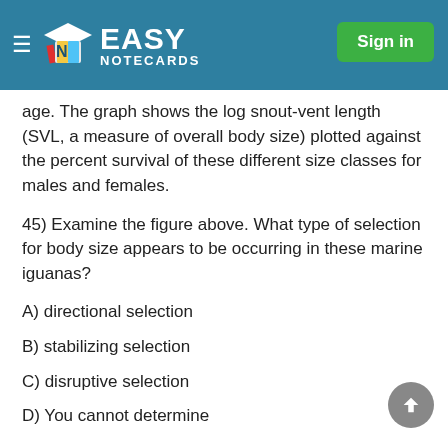Easy Notecards — Sign in
age. The graph shows the log snout-vent length (SVL, a measure of overall body size) plotted against the percent survival of these different size classes for males and females.
45) Examine the figure above. What type of selection for body size appears to be occurring in these marine iguanas?
A) directional selection
B) stabilizing selection
C) disruptive selection
D) You cannot determine